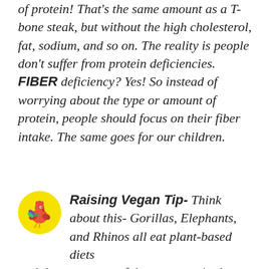of protein!  That's the same amount as a T-bone steak, but without the high cholesterol, fat, sodium, and so on.  The reality is people don't suffer from protein deficiencies.  FIBER deficiency?  Yes!  So instead of worrying about the type or amount of protein, people should focus on their fiber intake.  The same goes for our children.
Raising Vegan Tip- Think about this- Gorillas, Elephants, and Rhinos all eat plant-based diets and they are some of the strongest in the